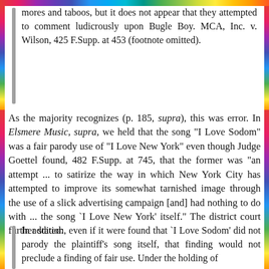mores and taboos, but it does not appear that they attempted to comment ludicrously upon Bugle Boy. MCA, Inc. v. Wilson, 425 F.Supp. at 453 (footnote omitted).
As the majority recognizes (p. 185, supra), this was error. In Elsmere Music, supra, we held that the song "I Love Sodom" was a fair parody use of "I Love New York" even though Judge Goettel found, 482 F.Supp. at 745, that the former was "an attempt ... to satirize the way in which New York City has attempted to improve its somewhat tarnished image through the use of a slick advertising campaign [and] had nothing to do with ... the song `I Love New York' itself." The district court further stated:
In addition, even if it were found that `I Love Sodom' did not parody the plaintiff's song itself, that finding would not preclude a finding of fair use. Under the holding of Rosemont-Co. Publications, Inc. v. ...